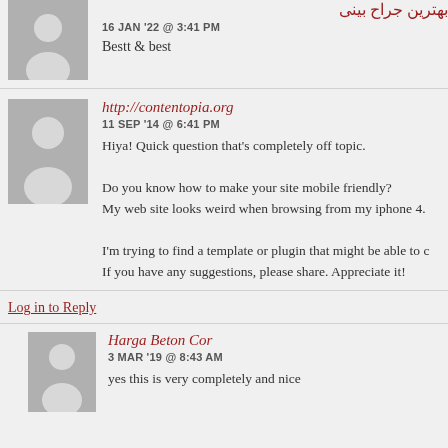بهترین جراح بینی
16 JAN '22 @ 3:41 PM
Bestt & best
http://contentopia.org
11 SEP '14 @ 6:41 PM
Hiya! Quick question that's completely off topic.

Do you know how to make your site mobile friendly?
My web site looks weird when browsing from my iphone 4.

I'm trying to find a template or plugin that might be able to c
If you have any suggestions, please share. Appreciate it!
Log in to Reply
Harga Beton Cor
3 MAR '19 @ 8:43 AM
yes this is very completely and nice